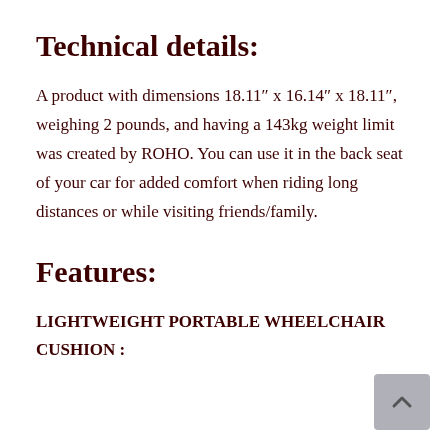Technical details:
A product with dimensions 18.11″ x 16.14″ x 18.11″, weighing 2 pounds, and having a 143kg weight limit was created by ROHO. You can use it in the back seat of your car for added comfort when riding long distances or while visiting friends/family.
Features:
LIGHTWEIGHT PORTABLE WHEELCHAIR CUSHION :